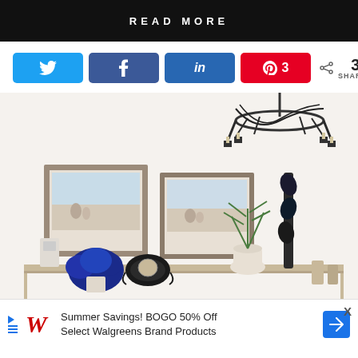READ MORE
[Figure (infographic): Social sharing buttons: Twitter, Facebook, LinkedIn, Pinterest (3 saves), and share count showing 3 SHARES]
[Figure (photo): Interior room photo showing two framed photos on a white wall, a large ornate black chandelier, a wall-mounted wine rack with bottles, a plant in a white vase, a decorative clock, and blue flowers on a console table]
[Figure (infographic): Advertisement banner: Walgreens Summer Savings BOGO 50% Off Select Walgreens Brand Products with close button X]